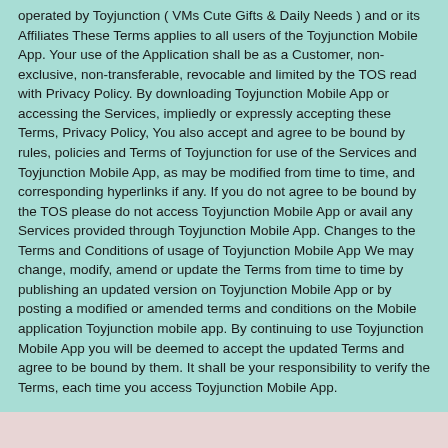operated by Toyjunction ( VMs Cute Gifts & Daily Needs ) and or its Affiliates These Terms applies to all users of the Toyjunction Mobile App. Your use of the Application shall be as a Customer, non-exclusive, non-transferable, revocable and limited by the TOS read with Privacy Policy. By downloading Toyjunction Mobile App or accessing the Services, impliedly or expressly accepting these Terms, Privacy Policy, You also accept and agree to be bound by rules, policies and Terms of Toyjunction for use of the Services and Toyjunction Mobile App, as may be modified from time to time, and corresponding hyperlinks if any. If you do not agree to be bound by the TOS please do not access Toyjunction Mobile App or avail any Services provided through Toyjunction Mobile App. Changes to the Terms and Conditions of usage of Toyjunction Mobile App We may change, modify, amend or update the Terms from time to time by publishing an updated version on Toyjunction Mobile App or by posting a modified or amended terms and conditions on the Mobile application Toyjunction mobile app. By continuing to use Toyjunction Mobile App you will be deemed to accept the updated Terms and agree to be bound by them. It shall be your responsibility to verify the Terms, each time you access Toyjunction Mobile App.